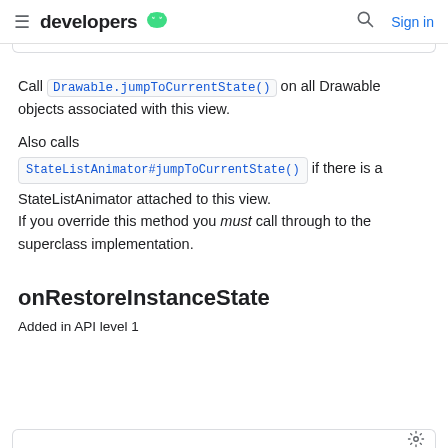developers
Call Drawable.jumpToCurrentState() on all Drawable objects associated with this view.
Also calls StateListAnimator#jumpToCurrentState() if there is a StateListAnimator attached to this view. If you override this method you must call through to the superclass implementation.
onRestoreInstanceState
Added in API level 1